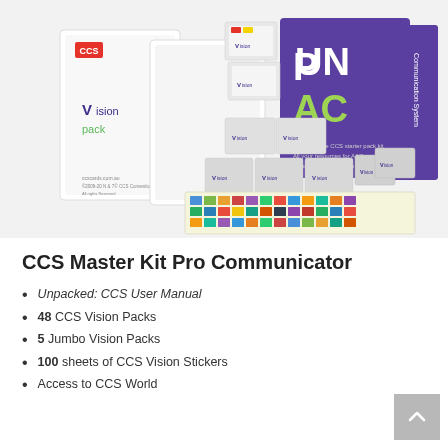[Figure (photo): Product photo showing CCS Master Kit Pro Communicator — multiple Vision Pack binders, card sets, sticker sheets, an UNPACK box, and various CCS Vision Pack items arranged together on a white background]
CCS Master Kit Pro Communicator
Unpacked: CCS User Manual
48 CCS Vision Packs
5 Jumbo Vision Packs
100 sheets of CCS Vision Stickers
Access to CCS World